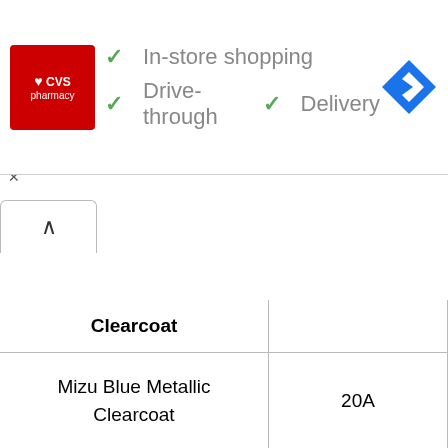[Figure (screenshot): CVS Pharmacy ad banner with logo, In-store shopping, Drive-through, Delivery checkmarks, and navigation icon]
| Clearcoat |  |
| --- | --- |
| Mizu Blue Metallic Clearcoat | 20A |
| Mocha Frost Metallic Clearcoat | DD/G5 |
| Moist Silver Metallic Clearcoat | 30S |
| Mojave Beige Metallic Clearcoat | 11F |